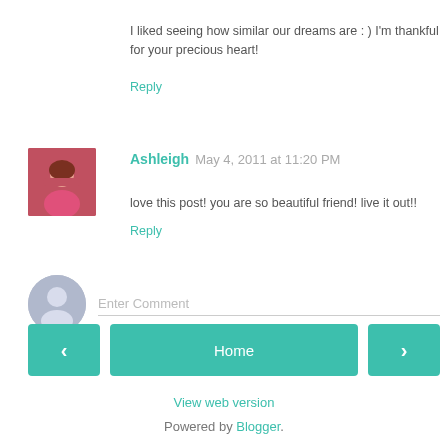I liked seeing how similar our dreams are : ) I'm thankful for your precious heart!
Reply
Ashleigh May 4, 2011 at 11:20 PM
love this post! you are so beautiful friend! live it out!!
Reply
Enter Comment
Home
View web version
Powered by Blogger.